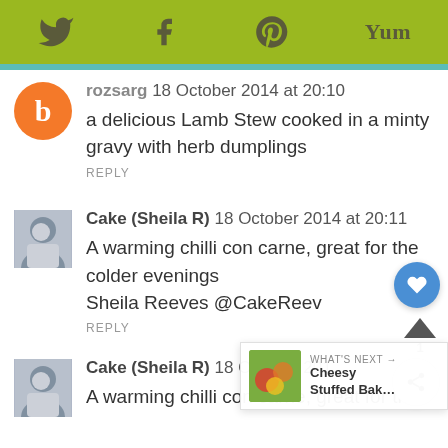Social share bar with Twitter, Facebook, Pinterest, Yum icons
rozsarg 18 October 2014 at 20:10
a delicious Lamb Stew cooked in a minty gravy with herb dumplings
REPLY
Cake (Sheila R) 18 October 2014 at 20:11
A warming chilli con carne, great for the colder evenings
Sheila Reeves @CakeReev
REPLY
Cake (Sheila R) 18 October 201...
A warming chilli con carne, great for the